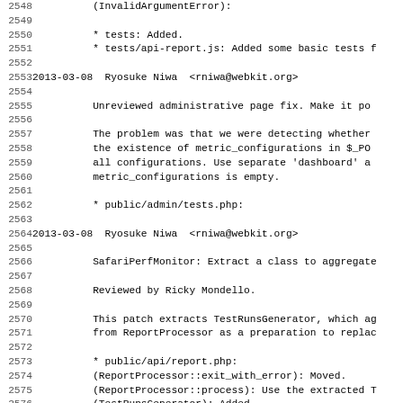Code changelog lines 2548-2580, monospace source log content
2550: * tests: Added.
2551: * tests/api-report.js: Added some basic tests f
2553: 2013-03-08  Ryosuke Niwa  <rniwa@webkit.org>
2555: Unreviewed administrative page fix. Make it po
2557-2560: The problem was that we were detecting whether the existence of metric_configurations in $_PO... all configurations. Use separate 'dashboard' a... metric_configurations is empty.
2562: * public/admin/tests.php:
2564: 2013-03-08  Ryosuke Niwa  <rniwa@webkit.org>
2566: SafariPerfMonitor: Extract a class to aggregate
2568: Reviewed by Ricky Mondello.
2570-2571: This patch extracts TestRunsGenerator, which ag from ReportProcessor as a preparation to replac
2573: * public/api/report.php:
2574: (ReportProcessor::exit_with_error): Moved.
2575: (ReportProcessor::process): Use the extracted T
2576: (TestRunsGenerator): Added.
2577: (TestRunsGenerator::exit_with_error): Copied fr
2578: (TestRunsGenerator::add_aggregated_metric): Mov
2579: (TestRunsGenerator::add_values_for_aggregation)
2580: (TestRunsGenerator::aggregate): Moved. Made pu